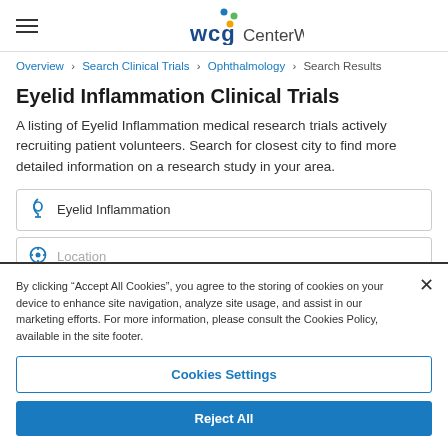WCG CenterWatch
Overview > Search Clinical Trials > Ophthalmology > Search Results
Eyelid Inflammation Clinical Trials
A listing of Eyelid Inflammation medical research trials actively recruiting patient volunteers. Search for closest city to find more detailed information on a research study in your area.
Eyelid Inflammation
Location
By clicking “Accept All Cookies”, you agree to the storing of cookies on your device to enhance site navigation, analyze site usage, and assist in our marketing efforts. For more information, please consult the Cookies Policy, available in the site footer.
Cookies Settings
Reject All